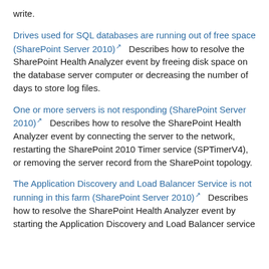write.
Drives used for SQL databases are running out of free space (SharePoint Server 2010) [link]    Describes how to resolve the SharePoint Health Analyzer event by freeing disk space on the database server computer or decreasing the number of days to store log files.
One or more servers is not responding (SharePoint Server 2010) [link]    Describes how to resolve the SharePoint Health Analyzer event by connecting the server to the network, restarting the SharePoint 2010 Timer service (SPTimerV4), or removing the server record from the SharePoint topology.
The Application Discovery and Load Balancer Service is not running in this farm (SharePoint Server 2010) [link]    Describes how to resolve the SharePoint Health Analyzer event by starting the Application Discovery and Load Balancer service